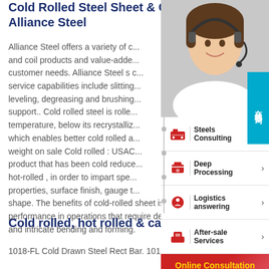Cold Rolled Steel Sheet & C... Alliance Steel
Alliance Steel offers a variety of c... and coil products and value-adde... customer needs. Alliance Steel s c... service capabilities include slitting... leveling, degreasing and brushing... support.. Cold rolled steel is rolle... temperature, below its recrystalliz... which enables better cold rolled a... weight on sale Cold rolled : USAC... product that has been cold reduce... hot-rolled , in order to impart spe... properties, surface finish, gauge t... shape. The benefits of cold-rolled sheet is ... nt performance in operations that require deep drawing and intricate bending and forming.
[Figure (photo): Woman wearing headset, customer service representative]
[Figure (screenshot): Side navigation menu with icons: Steels Consulting, Deep Processing, Logistics answering, After-sale Services; Online Consultation button; Up arrow button; Blue side button with Chinese text 在线咨询]
Cold rolled, hot rolled & carbon steel
1018-FL Cold Drawn Steel Rect Bar. 1018-HX Cold